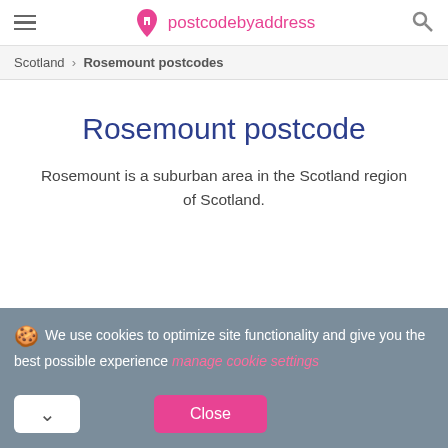postcodebyaddress
Scotland › Rosemount postcodes
Rosemount postcode
Rosemount is a suburban area in the Scotland region of Scotland.
🍪 We use cookies to optimize site functionality and give you the best possible experience manage cookie settings
Close